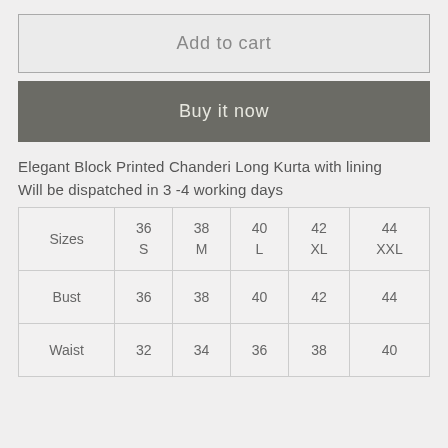Add to cart
Buy it now
Elegant Block Printed Chanderi Long Kurta with lining
Will be dispatched in 3 -4 working days
| Sizes | 36 S | 38 M | 40 L | 42 XL | 44 XXL |
| --- | --- | --- | --- | --- | --- |
| Bust | 36 | 38 | 40 | 42 | 44 |
| Waist | 32 | 34 | 36 | 38 | 40 |